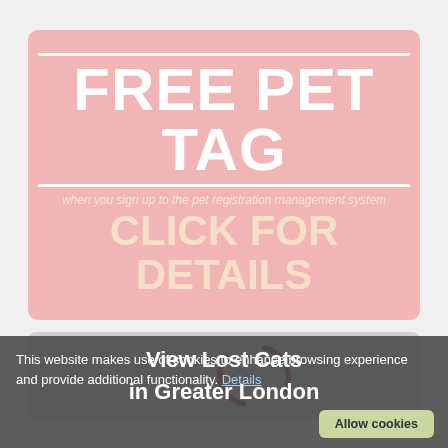[Figure (illustration): Promotional banner with pink background reading FREE PET TAG when you sign up to the pet registration management system CLICK FOR DETAILS]
View Lost Cats
in Greater London
Contact Member
This website makes use of cookies to enhance browsing experience and provide additional functionality. Details
Allow cookies